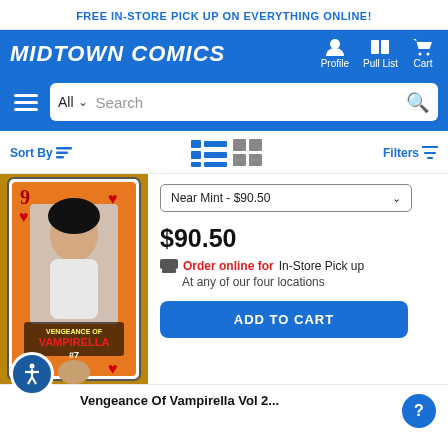FREE IN-STORE PICK UP ON EVERYTHING ONLINE!
[Figure (logo): Midtown Comics logo in white italic bold text on blue background]
[Figure (screenshot): Search bar with All category dropdown and Search placeholder text]
Sort By | Filters
[Figure (photo): Vengeance of Vampirella #7 comic book cover shown as a playing card 9 of hearts with female figure]
Near Mint - $90.50
$90.50
Order online for In-Store Pick up At any of our four locations
ADD TO CART
Vengeance Of Vampirella Vol 2...